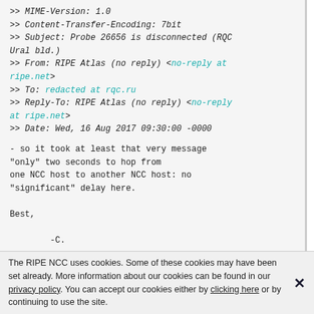>> MIME-Version: 1.0
>> Content-Transfer-Encoding: 7bit
>> Subject: Probe 26656 is disconnected (RQC Ural bld.)
>> From: RIPE Atlas (no reply) <no-reply at ripe.net>
>> To: redacted at rqc.ru
>> Reply-To: RIPE Atlas (no reply) <no-reply at ripe.net>
>> Date: Wed, 16 Aug 2017 09:30:00 -0000

- so it took at least that very message "only" two seconds to hop from one NCC host to another NCC host: no "significant" delay here.

Best,

        -C.
The RIPE NCC uses cookies. Some of these cookies may have been set already. More information about our cookies can be found in our privacy policy. You can accept our cookies either by clicking here or by continuing to use the site.